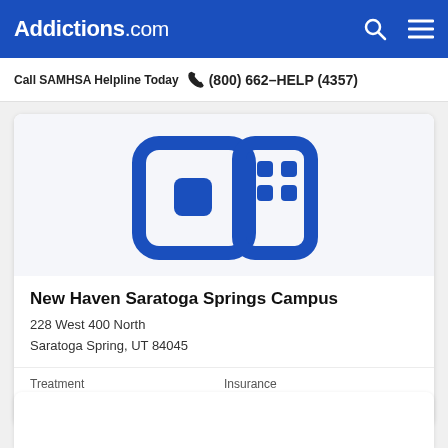Addictions.com
Call SAMHSA Helpline Today  (800) 662-HELP (4357)
[Figure (logo): Blue building/house icon with rounded square and windows on white background]
New Haven Saratoga Springs Campus
228 West 400 North
Saratoga Spring, UT 84045
Treatment
Detox  Inpatient
Insurance
Private